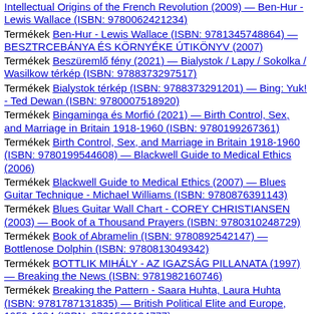Intellectual Origins of the French Revolution (2009) — Ben-Hur - Lewis Wallace (ISBN: 9780062421234)
Termékek Ben-Hur - Lewis Wallace (ISBN: 9781345748864) — BESZTRCEBÁNYA ÉS KÖRNYÉKE ÚTIKÖNYV (2007)
Termékek Beszüremlő fény (2021) — Bialystok / Lapy / Sokolka / Wasilkow térkép (ISBN: 9788373297517)
Termékek Bialystok térkép (ISBN: 9788373291201) — Bing: Yuk! - Ted Dewan (ISBN: 9780007518920)
Termékek Bingaminga és Morfió (2021) — Birth Control, Sex, and Marriage in Britain 1918-1960 (ISBN: 9780199267361)
Termékek Birth Control, Sex, and Marriage in Britain 1918-1960 (ISBN: 9780199544608) — Blackwell Guide to Medical Ethics (2006)
Termékek Blackwell Guide to Medical Ethics (2007) — Blues Guitar Technique - Michael Williams (ISBN: 9780876391143)
Termékek Blues Guitar Wall Chart - COREY CHRISTIANSEN (2003) — Book of a Thousand Prayers (ISBN: 9780310248729)
Termékek Book of Abramelin (ISBN: 9780892542147) — Bottlenose Dolphin (ISBN: 9780813049342)
Termékek BOTTLIK MIHÁLY - AZ IGAZSÁG PILLANATA (1997) — Breaking the News (ISBN: 9781982160746)
Termékek Breaking the Pattern - Saara Huhta, Laura Huhta (ISBN: 9781787131835) — British Political Elite and Europe, 1959-1984 (ISBN: 9781526124777)
Termékek British Political Facts (ISBN: 9781349321926) — Bug in a Rug (ISBN: 9781474858534)